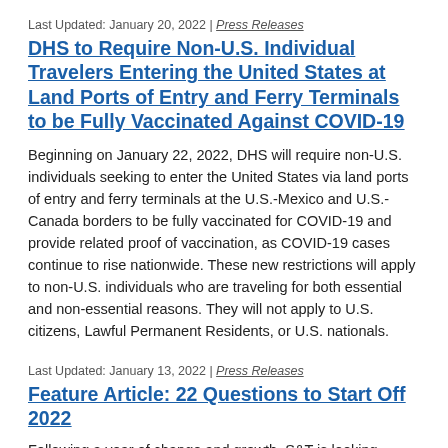Last Updated: January 20, 2022 | Press Releases
DHS to Require Non-U.S. Individual Travelers Entering the United States at Land Ports of Entry and Ferry Terminals to be Fully Vaccinated Against COVID-19
Beginning on January 22, 2022, DHS will require non-U.S. individuals seeking to enter the United States via land ports of entry and ferry terminals at the U.S.-Mexico and U.S.-Canada borders to be fully vaccinated for COVID-19 and provide related proof of vaccination, as COVID-19 cases continue to rise nationwide. These new restrictions will apply to non-U.S. individuals who are traveling for both essential and non-essential reasons. They will not apply to U.S. citizens, Lawful Permanent Residents, or U.S. nationals.
Last Updated: January 13, 2022 | Press Releases
Feature Article: 22 Questions to Start Off 2022
Following a year of change and growth, S&T is looking